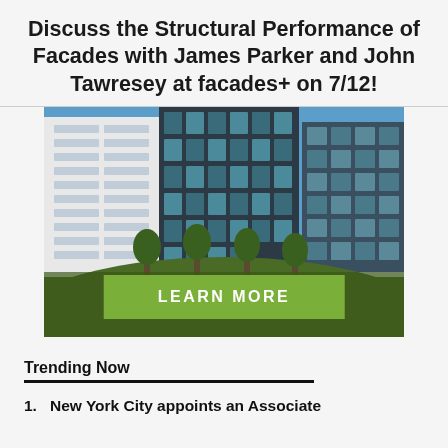Discuss the Structural Performance of Facades with James Parker and John Tawresey at facades+ on 7/12!
[Figure (photo): Photograph of modern high-rise building facades with balconies and glass curtain walls against a blue sky, with trees and greenery in the foreground, and a green 'LEARN MORE' button overlaid at the bottom center.]
Trending Now
1. New York City appoints an Associate